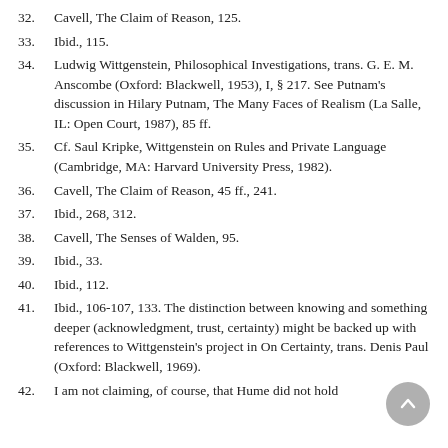32. Cavell, The Claim of Reason, 125.
33. Ibid., 115.
34. Ludwig Wittgenstein, Philosophical Investigations, trans. G. E. M. Anscombe (Oxford: Blackwell, 1953), I, § 217. See Putnam's discussion in Hilary Putnam, The Many Faces of Realism (La Salle, IL: Open Court, 1987), 85 ff.
35. Cf. Saul Kripke, Wittgenstein on Rules and Private Language (Cambridge, MA: Harvard University Press, 1982).
36. Cavell, The Claim of Reason, 45 ff., 241.
37. Ibid., 268, 312.
38. Cavell, The Senses of Walden, 95.
39. Ibid., 33.
40. Ibid., 112.
41. Ibid., 106-107, 133. The distinction between knowing and something deeper (acknowledgment, trust, certainty) might be backed up with references to Wittgenstein's project in On Certainty, trans. Denis Paul (Oxford: Blackwell, 1969).
42. I am not claiming, of course, that Hume did not hold